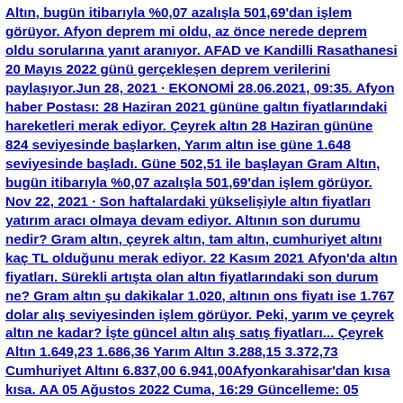Altın, bugün itibarıyla %0,07 azalışla 501,69'dan işlem görüyor. Afyon deprem mi oldu, az önce nerede deprem oldu sorularına yanıt aranıyor. AFAD ve Kandilli Rasathanesi 20 Mayıs 2022 günü gerçekleşen deprem verilerini paylaşıyor.Jun 28, 2021 · EKONOMİ 28.06.2021, 09:35. Afyon haber Postası: 28 Haziran 2021 gününe galtın fiyatlarındaki hareketleri merak ediyor. Çeyrek altın 28 Haziran gününe 824 seviyesinde başlarken, Yarım altın ise güne 1.648 seviyesinde başladı. Güne 502,51 ile başlayan Gram Altın, bugün itibarıyla %0,07 azalışla 501,69'dan işlem görüyor. Nov 22, 2021 · Son haftalardaki yükselişiyle altın fiyatları yatırım aracı olmaya devam ediyor. Altının son durumu nedir? Gram altın, çeyrek altın, tam altın, cumhuriyet altını kaç TL olduğunu merak ediyor. 22 Kasım 2021 Afyon'da altın fiyatları. Sürekli artışta olan altın fiyatlarındaki son durum ne? Gram altın şu dakikalar 1.020, altının ons fiyatı ise 1.767 dolar alış seviyesinden işlem görüyor. Peki, yarım ve çeyrek altın ne kadar? İşte güncel altın alış satış fiyatları... Çeyrek Altın 1.649,23 1.686,36 Yarım Altın 3.288,15 3.372,73 Cumhuriyet Altını 6.837,00 6.941,00Afyonkarahisar'dan kısa kısa. AA 05 Ağustos 2022 Cuma, 16:29 Güncelleme: 05 Ağustos 2022 Cuma, 16:29. 2 DDK Başkanı Arıncı: "KPSS'nin iptaline lüzum görülmüştür!" 3 Enflasyon ...Altın, pırlanta, elmas, zümrüt, yakut, safir yüzük modelleri uygun fiyatlarla Altınbaş'ta! Ücretsiz ve sigortalı teslimat avantajı ile hemen